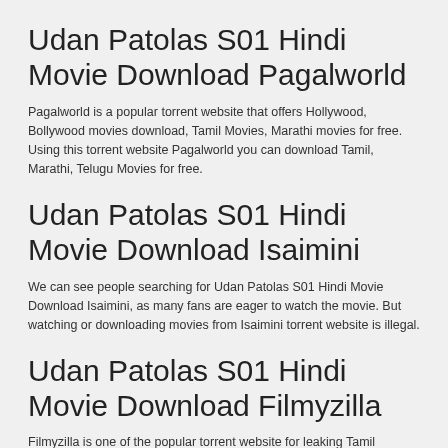Udan Patolas S01 Hindi Movie Download Pagalworld
Pagalworld is a popular torrent website that offers Hollywood, Bollywood movies download, Tamil Movies, Marathi movies for free. Using this torrent website Pagalworld you can download Tamil, Marathi, Telugu Movies for free.
Udan Patolas S01 Hindi Movie Download Isaimini
We can see people searching for Udan Patolas S01 Hindi Movie Download Isaimini, as many fans are eager to watch the movie. But watching or downloading movies from Isaimini torrent website is illegal.
Udan Patolas S01 Hindi Movie Download Filmyzilla
Filmyzilla is one of the popular torrent website for leaking Tamil movies, Bollywood movies, dubbed movies for free. We can see people searching on Udan Patolas S01 Hindi Movie Download Filmyzilla, so here we can see the impact of downloading